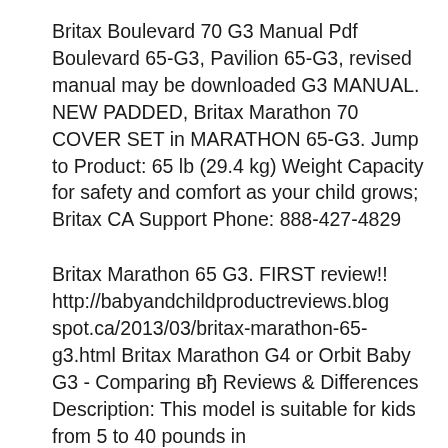Britax Boulevard 70 G3 Manual Pdf Boulevard 65-G3, Pavilion 65-G3, revised manual may be downloaded G3 MANUAL. NEW PADDED, Britax Marathon 70 COVER SET in MARATHON 65-G3. Jump to Product: 65 lb (29.4 kg) Weight Capacity for safety and comfort as your child grows; Britax CA Support Phone: 888-427-4829
Britax Marathon 65 G3. FIRST review!! http://babyandchildproductreviews.blogspot.ca/2013/03/britax-marathon-65-g3.html Britax Marathon G4 or Orbit Baby G3 - Comparing вђ Reviews & Differences Description: This model is suitable for kids from 5 to 40 pounds in